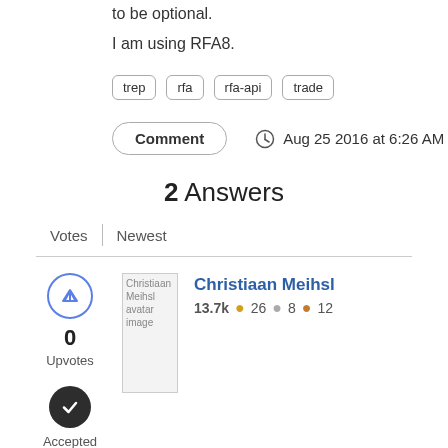to be optional.
I am using RFA8.
trep
rfa
rfa-api
trade
Comment   Aug 25 2016 at 6:26 AM
2 Answers
Votes  Newest
Christiaan Meihsl
13.7k  26  8  12
0
Upvotes
Accepted